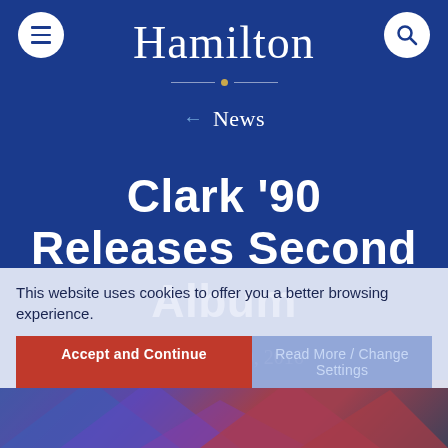Hamilton
← News
Clark '90 Releases Second Album
November 10, 2016
Alumni
This website uses cookies to offer you a better browsing experience.
[Figure (photo): Colorful abstract triangular graphic at the bottom of the page, partially obscured by cookie banner]